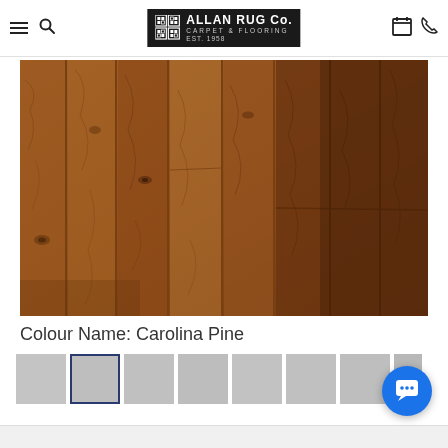[Figure (logo): Allan Rug Co. Carpet & Flooring Est. 1958 logo with grid pattern icon on dark background]
[Figure (photo): Close-up photograph of warm brown hardwood flooring planks showing wood grain texture, knots, and natural variation - Carolina Pine color]
Colour Name: Carolina Pine
[Figure (other): Row of color swatch thumbnails, second one selected with dark blue border]